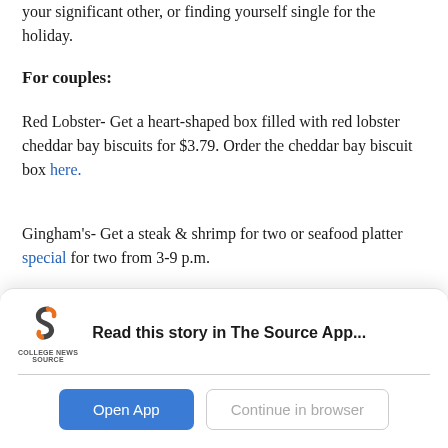your significant other, or finding yourself single for the holiday.
For couples:
Red Lobster- Get a heart-shaped box filled with red lobster cheddar bay biscuits for $3.79. Order the cheddar bay biscuit box here.
Gingham's- Get a steak & shrimp for two or seafood platter special for two from 3-9 p.m.
Olive Garden- Real flowers are overrated. Grab a breadstick bouquet or box of chocolate mints and get a three course date night meal for two for $39.99
[Figure (screenshot): App download banner for College News Source app reading 'Read this story in The Source App...' with Open App and Continue in browser buttons]